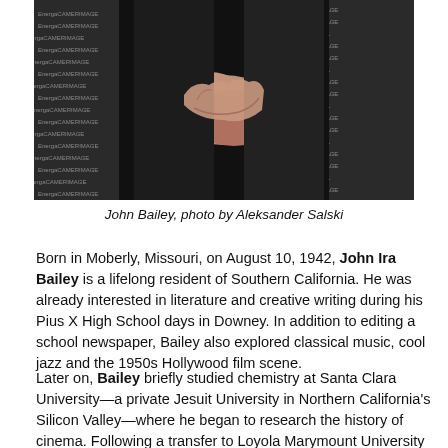[Figure (photo): Two people at EnergaCAMERIMAGE event, clasped hands visible in foreground, branded step-and-repeat backdrop]
John Bailey, photo by Aleksander Salski
Born in Moberly, Missouri, on August 10, 1942, John Ira Bailey is a lifelong resident of Southern California. He was already interested in literature and creative writing during his Pius X High School days in Downey. In addition to editing a school newspaper, Bailey also explored classical music, cool jazz and the 1950s Hollywood film scene.
Later on, Bailey briefly studied chemistry at Santa Clara University—a private Jesuit University in Northern California's Silicon Valley—where he began to research the history of cinema. Following a transfer to Loyola Marymount University in Los Angeles, in 1962 Bailey traveled to Innsbruck, Austria, on a junior year abroad program. During his stay in